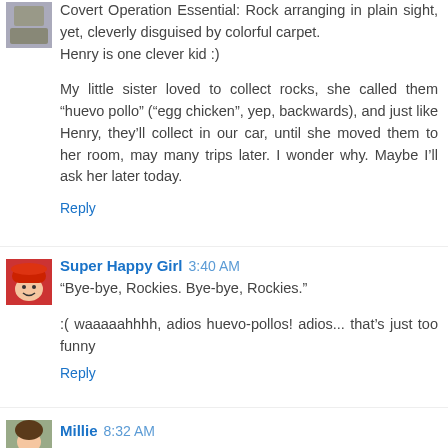Covert Operation Essential: Rock arranging in plain sight, yet, cleverly disguised by colorful carpet.
Henry is one clever kid :)
My little sister loved to collect rocks, she called them “huevo pollo” (“egg chicken”, yep, backwards), and just like Henry, they’ll collect in our car, until she moved them to her room, may many trips later. I wonder why. Maybe I’ll ask her later today.
Reply
Super Happy Girl 3:40 AM
“Bye-bye, Rockies. Bye-bye, Rockies.”
:( waaaaahhhh, adios huevo-pollos! adios... that’s just too funny
Reply
Millie 8:32 AM